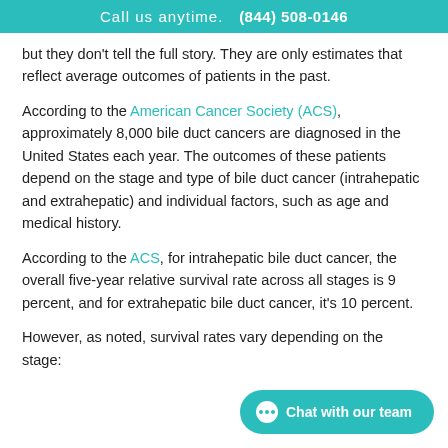Call us anytime.  (844) 508-0146
but they don't tell the full story. They are only estimates that reflect average outcomes of patients in the past.
According to the American Cancer Society (ACS), approximately 8,000 bile duct cancers are diagnosed in the United States each year. The outcomes of these patients depend on the stage and type of bile duct cancer (intrahepatic and extrahepatic) and individual factors, such as age and medical history.
According to the ACS, for intrahepatic bile duct cancer, the overall five-year relative survival rate across all stages is 9 percent, and for extrahepatic bile duct cancer, it's 10 percent.
However, as noted, survival rates vary depending on the stage: